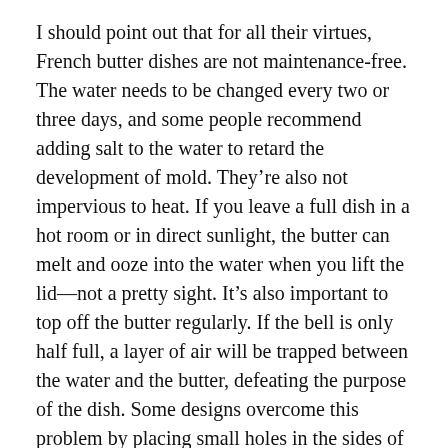I should point out that for all their virtues, French butter dishes are not maintenance-free. The water needs to be changed every two or three days, and some people recommend adding salt to the water to retard the development of mold. They're also not impervious to heat. If you leave a full dish in a hot room or in direct sunlight, the butter can melt and ooze into the water when you lift the lid—not a pretty sight. It's also important to top off the butter regularly. If the bell is only half full, a layer of air will be trapped between the water and the butter, defeating the purpose of the dish. Some designs overcome this problem by placing small holes in the sides of the bell to allow the air to escape.
That Name Rings a Bell
There's yet one other problem: what exactly one